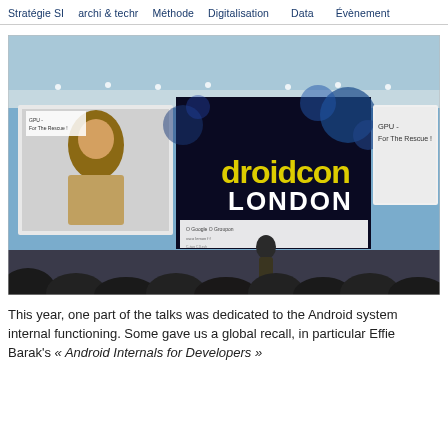Stratégie SI  archi & techr  Méthode  Digitalisation  Data  Évènement
[Figure (photo): Conference photo showing droidcon London event stage with banner reading 'droidcon LONDON', two projection screens (left showing a speaker presentation, right showing 'GPU - For The Rescue !'), audience silhouettes in foreground, presenter on stage, blue-lit venue.]
This year, one part of the talks was dedicated to the Android system internal functioning. Some gave us a global recall, in particular Effie Barak's « Android Internals for Developers »